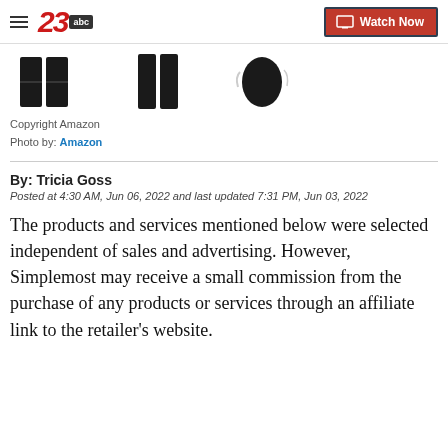23abc | Watch Now
[Figure (photo): Three product photos of black athletic/compression clothing items partially visible at the top of the page]
Copyright Amazon
Photo by: Amazon
By: Tricia Goss
Posted at 4:30 AM, Jun 06, 2022 and last updated 7:31 PM, Jun 03, 2022
The products and services mentioned below were selected independent of sales and advertising. However, Simplemost may receive a small commission from the purchase of any products or services through an affiliate link to the retailer's website.